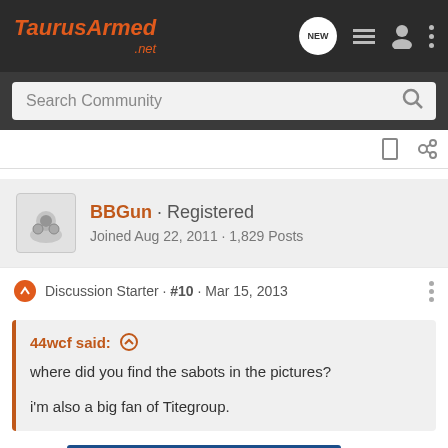TaurusArmed.net
Search Community
BBGun · Registered
Joined Aug 22, 2011 · 1,829 Posts
Discussion Starter · #10 · Mar 15, 2013
44wcf said:
where did you find the sabots in the pictures?
i'm also a big fan of Titegroup.
[Figure (screenshot): Advertisement banner: BETTER BUY MORE TARGETS with a gun image on blue background]
Just sor